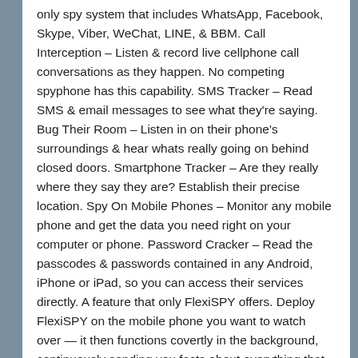only spy system that includes WhatsApp, Facebook, Skype, Viber, WeChat, LINE, & BBM. Call Interception – Listen & record live cellphone call conversations as they happen. No competing spyphone has this capability. SMS Tracker – Read SMS & email messages to see what they're saying. Bug Their Room – Listen in on their phone's surroundings & hear whats really going on behind closed doors. Smartphone Tracker – Are they really where they say they are? Establish their precise location. Spy On Mobile Phones – Monitor any mobile phone and get the data you need right on your computer or phone. Password Cracker – Read the passcodes & passwords contained in any Android, iPhone or iPad, so you can access their services directly. A feature that only FlexiSPY offers. Deploy FlexiSPY on the mobile phone you want to watch over — it then functions covertly in the background, continuously sending you facts about everything that is happening on the phone. FlexiSPY is particularly effective at getting instant messages such as Facebook, LINE, Skype and WhatsApp because — unlike competing programs — FlexiSPY captures all parts of the IM